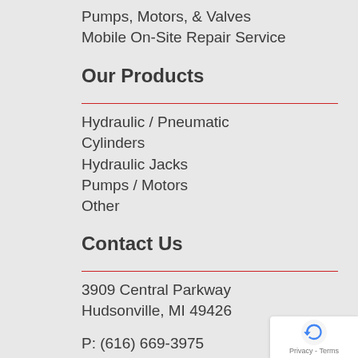Pumps, Motors, & Valves
Mobile On-Site Repair Service
Our Products
Hydraulic / Pneumatic Cylinders
Hydraulic Jacks
Pumps / Motors
Other
Contact Us
3909 Central Parkway
Hudsonville, MI 49426
P: (616) 669-3975
F: (616) 896-1792
[Figure (logo): Google reCAPTCHA badge with recycling-arrow logo icon and Privacy - Terms text]